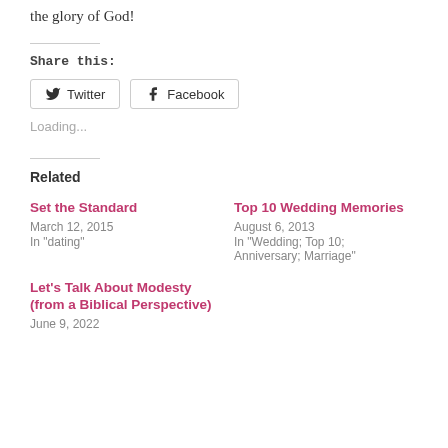the glory of God!
Share this:
Loading...
Related
Set the Standard
March 12, 2015
In "dating"
Top 10 Wedding Memories
August 6, 2013
In "Wedding; Top 10; Anniversary; Marriage"
Let's Talk About Modesty (from a Biblical Perspective)
June 9, 2022